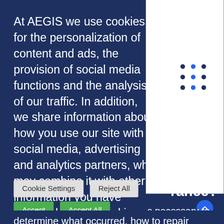At AEGIS we use cookies for the personalization of content and ads, the provision of social media functions and the analysis of our traffic. In addition, we share information about how you use our site with social media, advertising and analytics partners, who may combine it with other information you have provided or collected in connection with your use of the Services. their. By selecting "ALL ALLOWED", you accept the use of all Cookies. However you can visit the "Cookies Options" button to manage them as you wish.
Cookie Settings
Reject All
Accept
Accept All
rance?
s necessary to
determine what occurred, how to repair damage and how